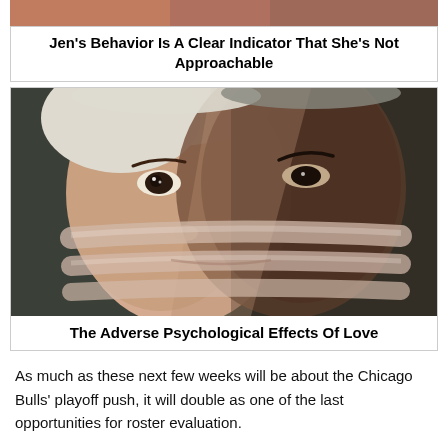[Figure (illustration): Top strip of a cropped image showing reddish/skin-toned abstract or person image]
Jen's Behavior Is A Clear Indicator That She's Not Approachable
[Figure (illustration): Digital art illustration of a face split between two different faces or personalities, one lighter and one darker, with translucent tape-like bands across the mouth area, set against a dark background]
The Adverse Psychological Effects Of Love
As much as these next few weeks will be about the Chicago Bulls' playoff push, it will double as one of the last opportunities for roster evaluation.